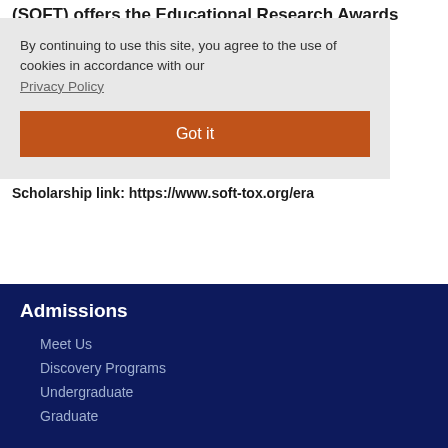(SOFT) offers the Educational Research Awards
recommendation, a resume or curriculum vitae.
Scholarship link: https://www.soft-tox.org/era
By continuing to use this site, you agree to the use of cookies in accordance with our Privacy Policy Got it
Admissions
Meet Us
Discovery Programs
Undergraduate
Graduate